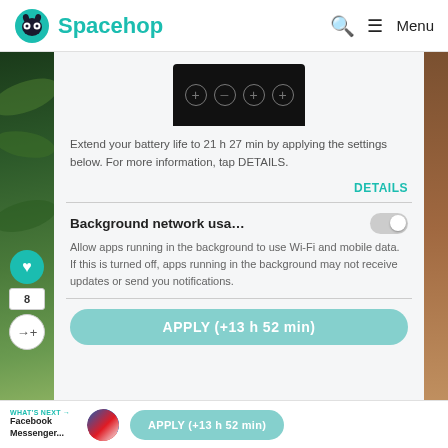Spacehop
[Figure (screenshot): Phone screenshot showing battery settings UI with four circle/plus buttons on dark background]
Extend your battery life to 21 h 27 min by applying the settings below. For more information, tap DETAILS.
DETAILS
Background network usa...
Allow apps running in the background to use Wi-Fi and mobile data. If this is turned off, apps running in the background may not receive updates or send you notifications.
APPLY (+13 h 52 min)
WHAT'S NEXT → Facebook Messenger...